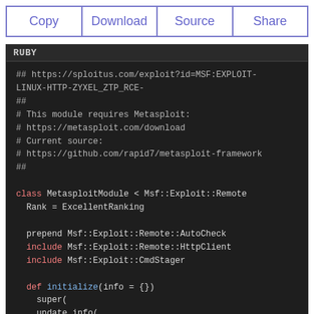| Copy | Download | Source | Share |
| --- | --- | --- | --- |
[Figure (screenshot): Dark-themed code editor showing Ruby source code for a Metasploit module targeting Zyxel Firewall ZTP unauthenticated command injection. The code includes comments with URLs, class definition, rank assignment, prepend/include statements, and the beginning of an initialize method with super and update_info calls.]